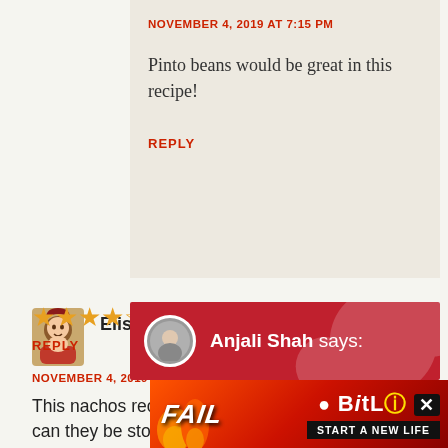NOVEMBER 4, 2019 AT 7:15 PM
Pinto beans would be great in this recipe!
REPLY
Elisha says:
NOVEMBER 4, 2019 AT 6:18 PM
This nachos recipes looks like a winner! How long can they be stored for?
★★★★☆
REPLY
Anjali Shah says:
[Figure (screenshot): BitLife advertisement banner with FAIL text and Start a New Life tagline]